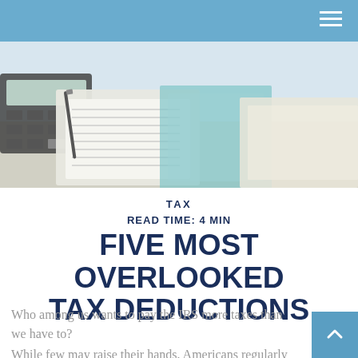[Figure (photo): A photo showing a calculator, clipboard with papers, and documents/folders on a desk, suggesting tax and financial paperwork.]
TAX
READ TIME: 4 MIN
FIVE MOST OVERLOOKED TAX DEDUCTIONS
Who among us wants to pay the IRS more taxes than we have to?
While few may raise their hands, Americans regularly